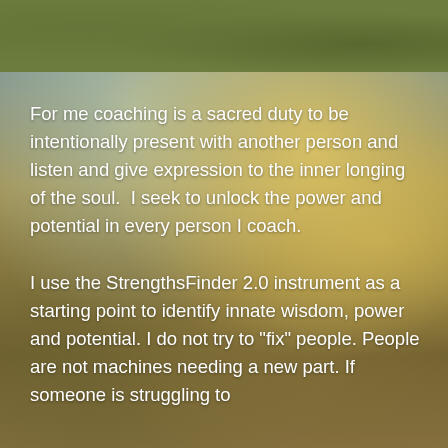[Figure (photo): Green textured header bar at top, below which is a sky landscape background with golden and teal clouds]
For me coaching is a sacred duty to be intentionally present with another person and listen and give expression to the inner longing of the soul.  I seek to unlock the power and potential in every person I coach.
I use the StrengthsFinder 2.0 instrument as a starting point to identify innate wisdom, power and potential. I do not try to "fix" people. People are not machines needing a new part. If someone is struggling to